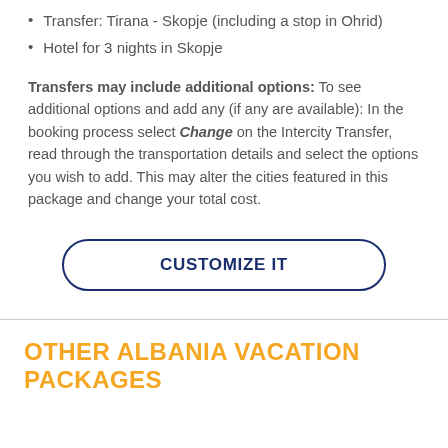Transfer: Tirana - Skopje (including a stop in Ohrid)
Hotel for 3 nights in Skopje
Transfers may include additional options: To see additional options and add any (if any are available): In the booking process select Change on the Intercity Transfer, read through the transportation details and select the options you wish to add. This may alter the cities featured in this package and change your total cost.
CUSTOMIZE IT
OTHER ALBANIA VACATION PACKAGES